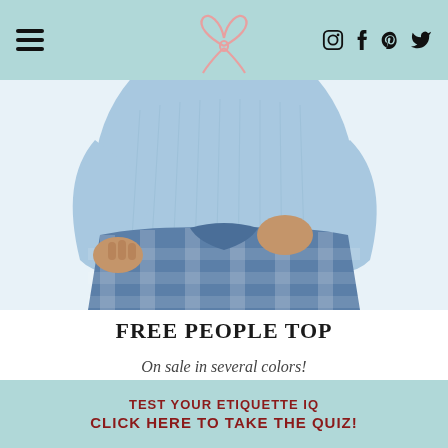≡ [bow logo] [instagram] [facebook] [pinterest] [twitter]
[Figure (photo): A woman wearing a light blue ribbed top and tying a blue and white plaid flannel shirt around her waist, cropped to show torso and hands only, white background.]
FREE PEOPLE TOP
On sale in several colors!
TEST YOUR ETIQUETTE IQ
CLICK HERE TO TAKE THE QUIZ!